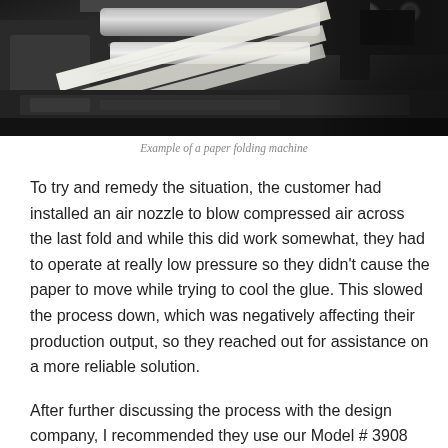[Figure (photo): Close-up photograph of a paper folding machine showing metal rollers, gears, and paper sheets being processed.]
Example of a paper folding machine
To try and remedy the situation, the customer had installed an air nozzle to blow compressed air across the last fold and while this did work somewhat, they had to operate at really low pressure so they didn’t cause the paper to move while trying to cool the glue. This slowed the process down, which was negatively affecting their production output, so they reached out for assistance on a more reliable solution.
After further discussing the process with the design company, I recommended they use our Model # 3908 Small Vortex Tube